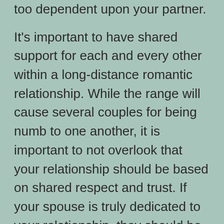too dependent upon your partner. It's important to have shared support for each and every other within a long-distance romantic relationship. While the range will cause several couples for being numb to one another, it is important to not overlook that your relationship should be based on shared respect and trust. If your spouse is truly dedicated to your relationship, they should be able to do the same for you personally. If you promote the same principles and desired goals, your long-distance relationship is more likely to previous.